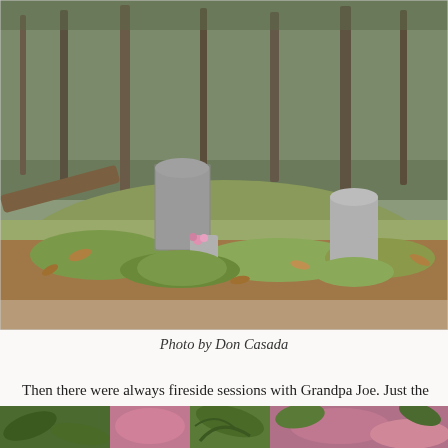[Figure (photo): A small, remote mountain cemetery with mossy ground, fallen leaves, and three stone grave markers. Trees are visible in the background.]
Photo by Don Casada
Then there were always fireside sessions with Grandpa Joe. Just the other day my brother, Don, sent me a photo of a small, remote mountain cemetery. He did so in connection with some research we are doing, but what really caught my eye was the nature of the rhododendrons surrounding the little knoll with its three graves. The leaves on them were curled up as tightly as a hand-wrapped Cuban cigar. When rhododendrons start hugging themselves that way, you know it’s bitterly cold.
[Figure (photo): Close-up photograph of rhododendron leaves and branches, partially visible at the bottom of the page.]